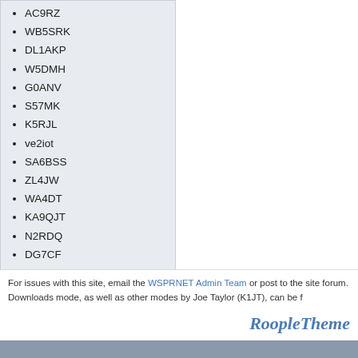AC9RZ
WB5SRK
DL1AKP
W5DMH
G0ANV
S57MK
K5RJL
ve2iot
SA6BSS
ZL4JW
WA4DT
KA9QJT
N2RDQ
DG7CF
AB1YX
f6abj
N5ODX
W0yse
N8OBJ
For issues with this site, email the WSPRNET Admin Team or post to the site forum. Downloads mode, as well as other modes by Joe Taylor (K1JT), can be f
RoopleTheme